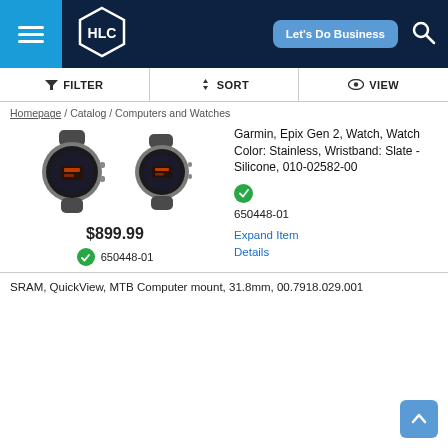HLC - Let's Do Business
FILTER   SORT   VIEW
Homepage / Catalog / Computers and Watches
[Figure (photo): Two Garmin Epix Gen 2 smartwatches with slate silicone bands and stainless steel cases]
Garmin, Epix Gen 2, Watch, Watch Color: Stainless, Wristband: Slate - Silicone, 010-02582-00
650448-01
Expand Item Details
$899.99
650448-01
SRAM, QuickView, MTB Computer mount, 31.8mm, 00.7918.029.001